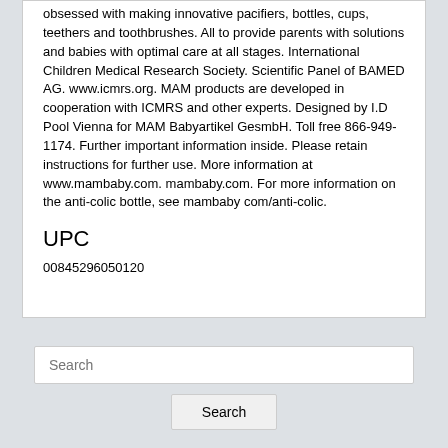obsessed with making innovative pacifiers, bottles, cups, teethers and toothbrushes. All to provide parents with solutions and babies with optimal care at all stages. International Children Medical Research Society. Scientific Panel of BAMED AG. www.icmrs.org. MAM products are developed in cooperation with ICMRS and other experts. Designed by I.D Pool Vienna for MAM Babyartikel GesmbH. Toll free 866-949-1174. Further important information inside. Please retain instructions for further use. More information at www.mambaby.com. mambaby.com. For more information on the anti-colic bottle, see mambaby com/anti-colic.
UPC
00845296050120
Search
Search